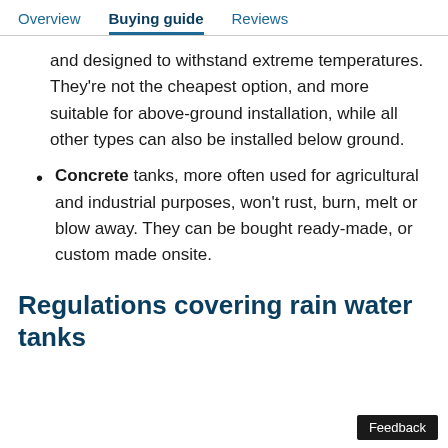Overview   Buying guide   Reviews
and designed to withstand extreme temperatures. They're not the cheapest option, and more suitable for above-ground installation, while all other types can also be installed below ground.
Concrete tanks, more often used for agricultural and industrial purposes, won't rust, burn, melt or blow away. They can be bought ready-made, or custom made onsite.
Regulations covering rain water tanks